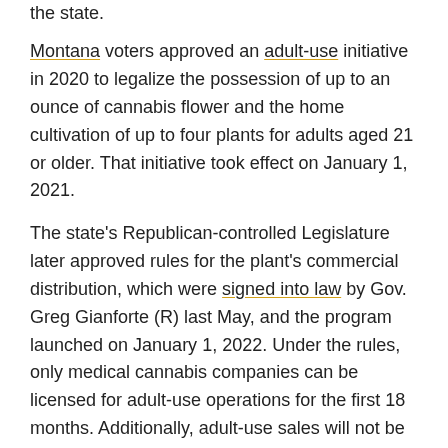the state.
Montana voters approved an adult-use initiative in 2020 to legalize the possession of up to an ounce of cannabis flower and the home cultivation of up to four plants for adults aged 21 or older. That initiative took effect on January 1, 2021.
The state's Republican-controlled Legislature later approved rules for the plant's commercial distribution, which were signed into law by Gov. Greg Gianforte (R) last May, and the program launched on January 1, 2022. Under the rules, only medical cannabis companies can be licensed for adult-use operations for the first 18 months. Additionally, adult-use sales will not be available in counties where voters initially rejected the reforms — instead, localities will have to opt into the industry through local elections.